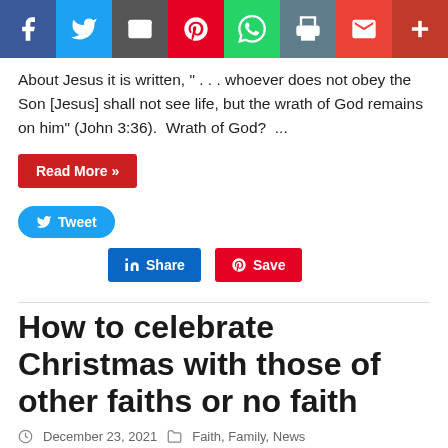[Figure (screenshot): Social media share bar with icons: Facebook (blue), Twitter (light blue), Email (grey), Pinterest (red), WhatsApp (green), Print (grey-blue), Gmail (red-orange), Plus/More (dark red)]
About Jesus it is written, " . . . whoever does not obey the Son [Jesus] shall not see life, but the wrath of God remains on him" (John 3:36).  Wrath of God?  ...
[Figure (screenshot): Red 'Read More »' button]
[Figure (screenshot): Blue Twitter 'Tweet' button with bird icon]
[Figure (screenshot): LinkedIn blue 'Share' button and Pinterest red 'Save' button]
How to celebrate Christmas with those of other faiths or no faith
December 23, 2021   Faith, Family, News
[Figure (photo): Partial photo strip showing a dark warm-toned background, likely a Christmas scene]